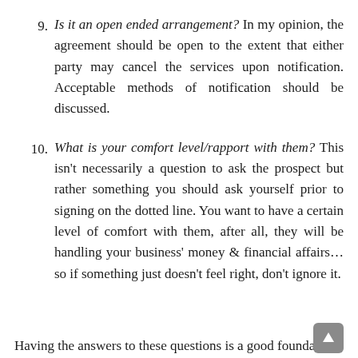9. Is it an open ended arrangement? In my opinion, the agreement should be open to the extent that either party may cancel the services upon notification. Acceptable methods of notification should be discussed.
10. What is your comfort level/rapport with them? This isn't necessarily a question to ask the prospect but rather something you should ask yourself prior to signing on the dotted line. You want to have a certain level of comfort with them, after all, they will be handling your business' money & financial affairs… so if something just doesn't feel right, don't ignore it.
Having the answers to these questions is a good foundation